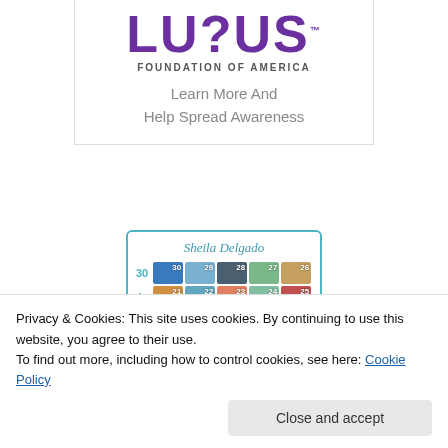[Figure (logo): Lupus Foundation of America logo with text 'LUPUS FOUNDATION OF AMERICA' and tagline 'Learn More And Help Spread Awareness']
[Figure (illustration): Calendar card for Sheila Delgado showing '30 in 30' layout with colorful photo thumbnails and date numbers (27, 26, 21, 22, 23, 24, 25, 30, 19, 18, 17, 16)]
Privacy & Cookies: This site uses cookies. By continuing to use this website, you agree to their use.
To find out more, including how to control cookies, see here: Cookie Policy
Close and accept